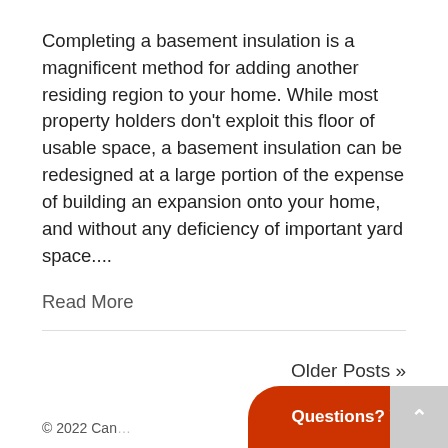Completing a basement insulation is a magnificent method for adding another residing region to your home. While most property holders don't exploit this floor of usable space, a basement insulation can be redesigned at a large portion of the expense of building an expansion onto your home, and without any deficiency of important yard space....
Read More
Older Posts »
© 2022 Can... ilder
Questions? We're Online